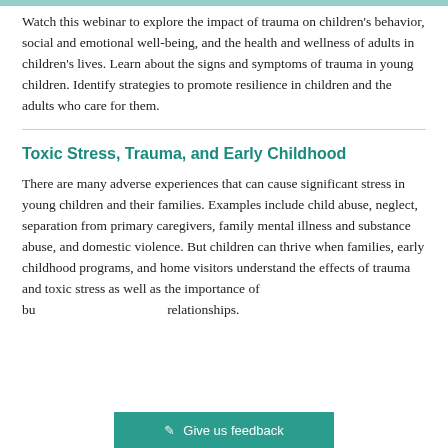Promoting Empathy, Understanding Trauma
Watch this webinar to explore the impact of trauma on children's behavior, social and emotional well-being, and the health and wellness of adults in children's lives. Learn about the signs and symptoms of trauma in young children. Identify strategies to promote resilience in children and the adults who care for them.
Toxic Stress, Trauma, and Early Childhood
There are many adverse experiences that can cause significant stress in young children and their families. Examples include child abuse, neglect, separation from primary caregivers, family mental illness and substance abuse, and domestic violence. But children can thrive when families, early childhood programs, and home visitors understand the effects of trauma and toxic stress as well as the importance of bu relationships.